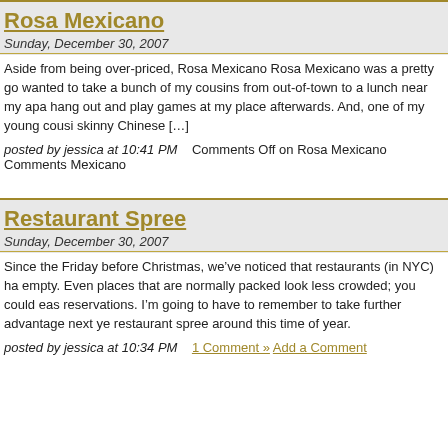Rosa Mexicano
Sunday, December 30, 2007
Aside from being over-priced, Rosa Mexicano Rosa Mexicano was a pretty go wanted to take a bunch of my cousins from out-of-town to a lunch near my apa hang out and play games at my place afterwards. And, one of my young cousi skinny Chinese [...]
posted by jessica at 10:41 PM    Comments Off on Rosa Mexicano Comments Mexicano
Restaurant Spree
Sunday, December 30, 2007
Since the Friday before Christmas, we've noticed that restaurants (in NYC) ha empty. Even places that are normally packed look less crowded; you could eas reservations. I'm going to have to remember to take further advantage next ye restaurant spree around this time of year.
posted by jessica at 10:34 PM    1 Comment » Add a Comment